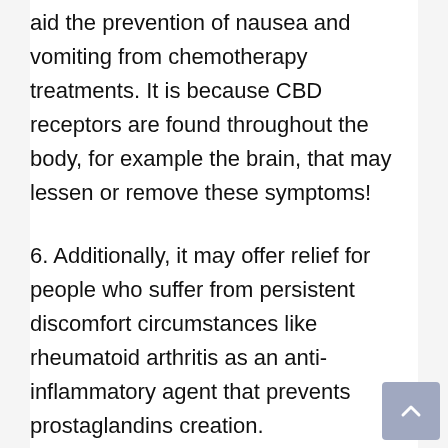aid the prevention of nausea and vomiting from chemotherapy treatments. It is because CBD receptors are found throughout the body, for example the brain, that may lessen or remove these symptoms!
6. Additionally, it may offer relief for people who suffer from persistent discomfort circumstances like rheumatoid arthritis as an anti-inflammatory agent that prevents prostaglandins creation.
Additionally, this has been shown in scientific studies that over time this treatment choice minimizes anxiety linked to PMS-connected aches and pains.
You will find just a few of the numerous advantages you may get from CBD, but there